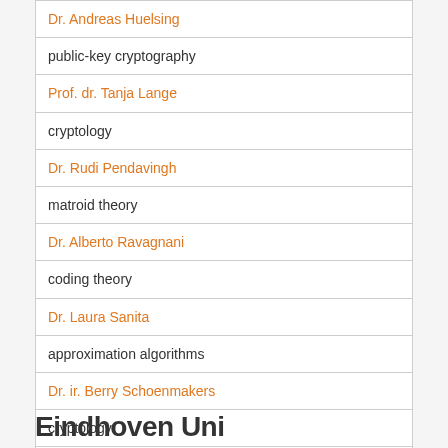| Dr. Andreas Huelsing |
| public-key cryptography |
| Prof. dr. Tanja Lange |
| cryptology |
| Dr. Rudi Pendavingh |
| matroid theory |
| Dr. Alberto Ravagnani |
| coding theory |
| Dr. Laura Sanita |
| approximation algorithms |
| Dr. ir. Berry Schoenmakers |
| cryptology |
| Prof. dr. Frits Spieksma |
| combinatorial optimisation |
| Dr. Benne de Weger |
| number theory, cryptanalysis |
Eindhoven University